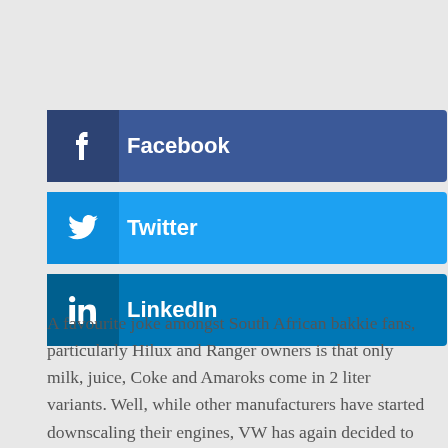[Figure (infographic): Three social media share buttons: Facebook (dark blue), Twitter (light blue), LinkedIn (medium blue), each with icon on left and label text.]
A favourite joke amongst South African bakkie fans, particularly Hilux and Ranger owners is that only milk, juice, Coke and Amaroks come in 2 liter variants. Well, while other manufacturers have started downscaling their engines, VW has again decided to go in another direction again with the introduction of the latest iteration of Volkswagen's double cab pick up.